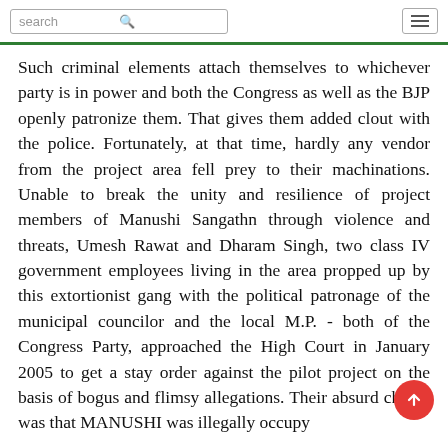search [search icon] [hamburger menu]
Such criminal elements attach themselves to whichever party is in power and both the Congress as well as the BJP openly patronize them. That gives them added clout with the police. Fortunately, at that time, hardly any vendor from the project area fell prey to their machinations. Unable to break the unity and resilience of project members of Manushi Sangathn through violence and threats, Umesh Rawat and Dharam Singh, two class IV government employees living in the area propped up by this extortionist gang with the political patronage of the municipal councilor and the local M.P. - both of the Congress Party, approached the High Court in January 2005 to get a stay order against the pilot project on the basis of bogus and flimsy allegations. Their absurd charge was that MANUSHI was illegally occupying...